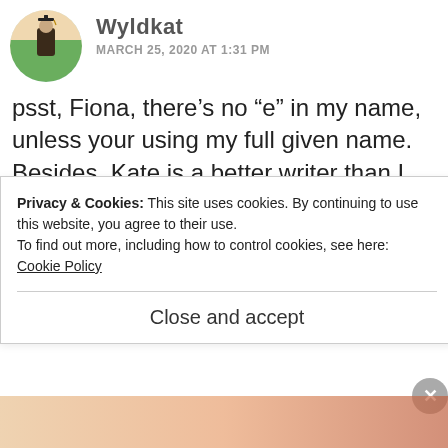[Figure (photo): Circular avatar showing an illustrated figure in graduation robes standing on a green hill with a light sky background]
Wyldkat
MARCH 25, 2020 AT 1:31 PM
psst, Fiona, there’s no “e” in my name, unless your using my full given name. Besides, Kate is a better writer than I am. 😉
★ Like
REPLY
Privacy & Cookies: This site uses cookies. By continuing to use this website, you agree to their use.
To find out more, including how to control cookies, see here:
Cookie Policy
Close and accept